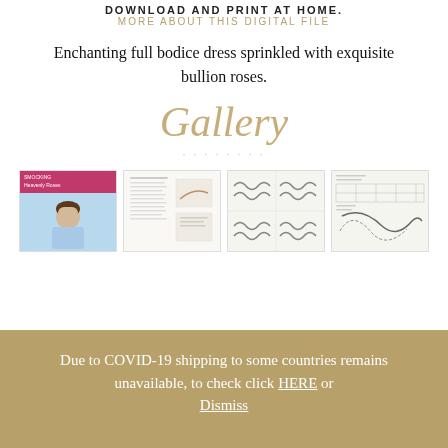DOWNLOAD AND PRINT AT HOME.
MORE ABOUT THIS DIGITAL FILE
Enchanting full bodice dress sprinkled with exquisite bullion roses.
Gallery
[Figure (photo): Four thumbnail images: 1) Book cover with child in blue smocked dress, 2) Instruction pages with text and diagrams, 3) Stitch diagram pages, 4) Pattern pieces page]
Due to COVID-19 shipping to some countries remains unavailable, to check click HERE or Dismiss